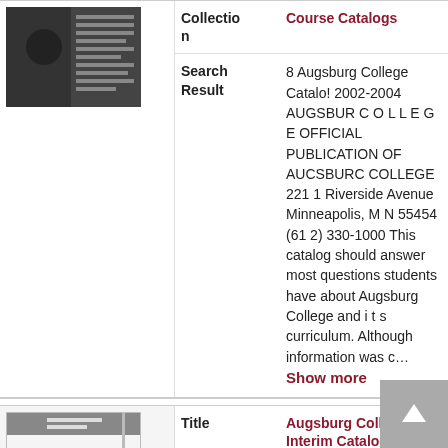Collection: Course Catalogs
Search Result: 8 Augsburg College Catalo! 2002-2004 AUGSBUR C O L L E G E OFFICIAL PUBLICATION OF AUCSBURC COLLEGE 221 1 Riverside Avenue Minneapolis, M N 55454 (61 2) 330-1000 This catalog should answer most questions students have about Augsburg College and i t s curriculum. Although information was c...
Show more
Title: Augsburg College Interim Catalog, 2002
Collection: Course Catalogs
Search: ........................2 Options ........................4